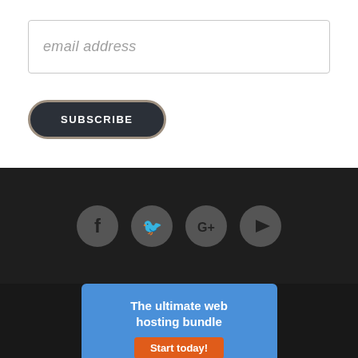email address
SUBSCRIBE
[Figure (infographic): Four social media icon circles (Facebook, Twitter, Google+, YouTube) on a dark background]
The ultimate web hosting bundle
Start today!